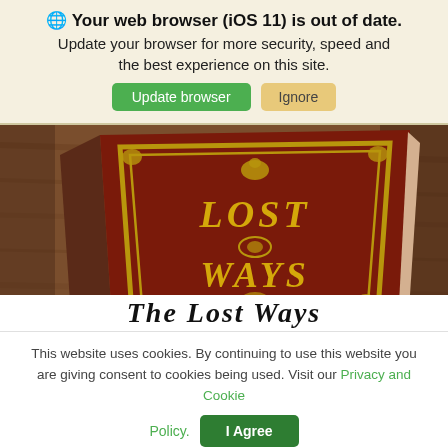🌐 Your web browser (iOS 11) is out of date. Update your browser for more security, speed and the best experience on this site.
[Figure (photo): Photo of an antique book titled 'Lost Ways' with gold embossed lettering and ornate gold border, lying on a wooden surface. Partially visible stylized serif title text at bottom reads 'The Lost Ways'.]
This website uses cookies. By continuing to use this website you are giving consent to cookies being used. Visit our Privacy and Cookie Policy.